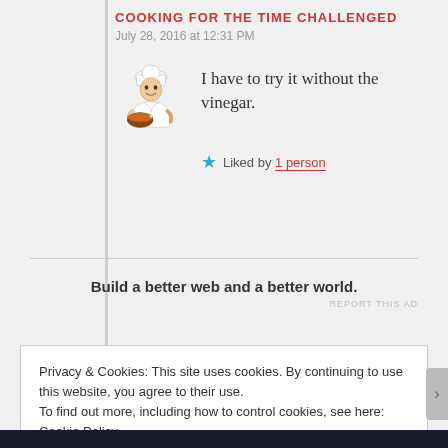COOKING FOR THE TIME CHALLENGED
July 28, 2016 at 12:31 PM
I have to try it without the vinegar.
★ Liked by 1 person
Build a better web and a better world.
REPORT THIS AD
Privacy & Cookies: This site uses cookies. By continuing to use this website, you agree to their use.
To find out more, including how to control cookies, see here: Cookie Policy
Close and accept